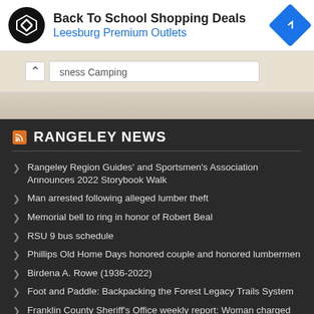[Figure (screenshot): Advertisement banner for Back To School Shopping Deals at Leesburg Premium Outlets with logo and navigation icon]
[Figure (screenshot): Partial map strip showing a search bar with text 'sness Camping' and a collapse arrow button]
RANGELEY NEWS
Rangeley Region Guides' and Sportsmen's Association Announces 2022 Storybook Walk
Man arrested following alleged lumber theft
Memorial bell to ring in honor of Robert Beal
RSU 9 bus schedule
Phillips Old Home Days honored couple and honored lumbermen
Birdena A. Rowe (1936-2022)
Foot and Paddle: Backpacking the Forest Legacy Trails System
Franklin County Sheriff's Office weekly report: Woman charged with burglary, theft
Two accidents: one driver injured, utility pole knocked down
Upcoming walk-in COVID-19 vaccine clinics for individuals 18+